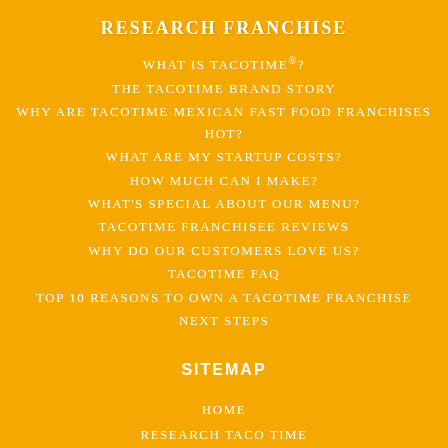RESEARCH FRANCHISE
WHAT IS TACOTIME®?
THE TACOTIME BRAND STORY
WHY ARE TACOTIME MEXICAN FAST FOOD FRANCHISES HOT?
WHAT ARE MY STARTUP COSTS?
HOW MUCH CAN I MAKE?
WHAT'S SPECIAL ABOUT OUR MENU?
TACOTIME FRANCHISEE REVIEWS
WHY DO OUR CUSTOMERS LOVE US?
TACOTIME FAQ
TOP 10 REASONS TO OWN A TACOTIME FRANCHISE
NEXT STEPS
SITEMAP
HOME
RESEARCH TACO TIME